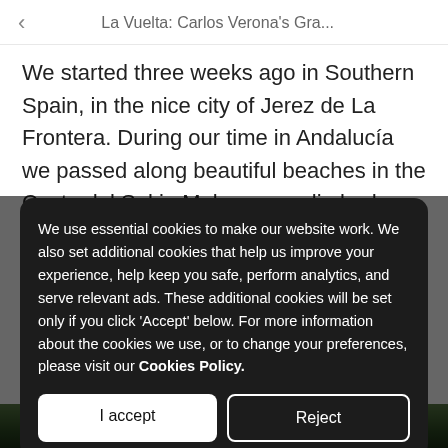La Vuelta: Carlos Verona's Gra...
We started three weeks ago in Southern Spain, in the nice city of Jerez de La Frontera. During our time in Andalucía we passed along beautiful beaches in the Costa del Sol in Malaga, we climbed some tough mountains around Sierra Nevada, and we headed
We use essential cookies to make our website work. We also set additional cookies that help us improve your experience, help keep you safe, perform analytics, and serve relevant ads. These additional cookies will be set only if you click 'Accept' below. For more information about the cookies we use, or to change your preferences, please visit our Cookies Policy.
I accept
Reject